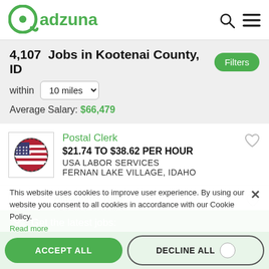[Figure (logo): Adzuna logo - green circular icon with 'adzuna' text]
4,107  Jobs in Kootenai County, ID
within  10 miles
Average Salary: $66,479
Postal Clerk
$21.74 TO $38.62 PER HOUR
USA LABOR SERVICES
FERNAN LAKE VILLAGE, IDAHO
Algorithms Tutor
VARSITY TUTORS
COEUR D'ALENE, ID
This website uses cookies to improve user experience. By using our website you consent to all cookies in accordance with our Cookie Policy.
Read more
SHOW DETAILS
ACCEPT ALL
Get the latest jobs:
DECLINE ALL